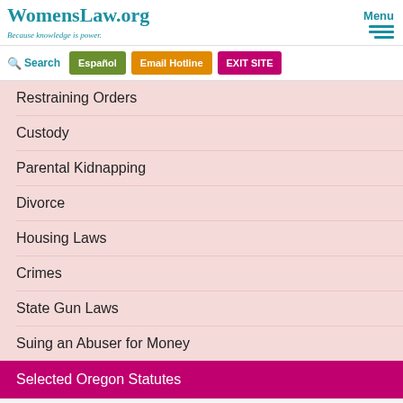WomensLaw.org — Because knowledge is power.
Restraining Orders
Custody
Parental Kidnapping
Divorce
Housing Laws
Crimes
State Gun Laws
Suing an Abuser for Money
Selected Oregon Statutes
Preparing for Court - By Yourself
Immigration